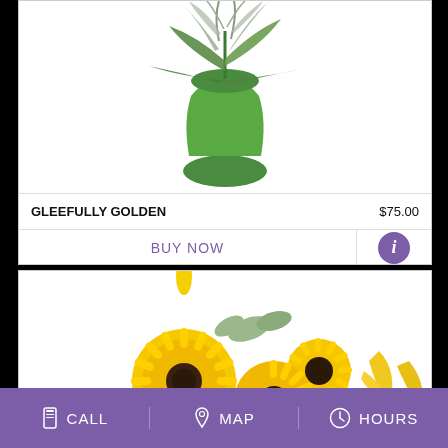[Figure (photo): Flower arrangement in a green vase with green leaves and gray/silver foliage on a white background]
GLEEFULLY GOLDEN    $75.00
BUY NOW
[Figure (photo): Bouquet of bright yellow gerbera daisies and sunflowers with green eucalyptus leaves on a white background]
CALL   MAP   HOURS